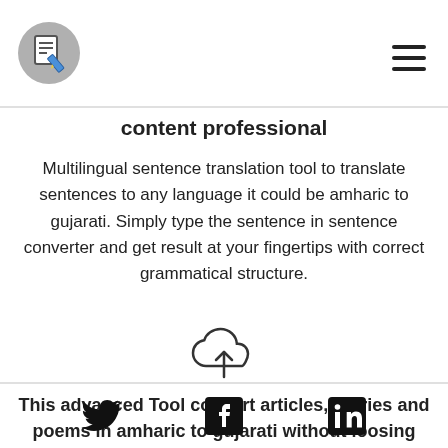[Figure (logo): Circular grey logo icon with a document/notepad and pencil symbol]
[Figure (illustration): Hamburger menu icon (three horizontal lines) in top right corner]
content professional
Multilingual sentence translation tool to translate sentences to any language it could be amharic to gujarati. Simply type the sentence in sentence converter and get result at your fingertips with correct grammatical structure.
[Figure (illustration): Cloud upload icon — outlined cloud shape with upward arrow]
This advanced Tool convert articles, stories and poems in amharic to gujarati without loosing meaning and emotion
Twitter | Facebook | LinkedIn social icons